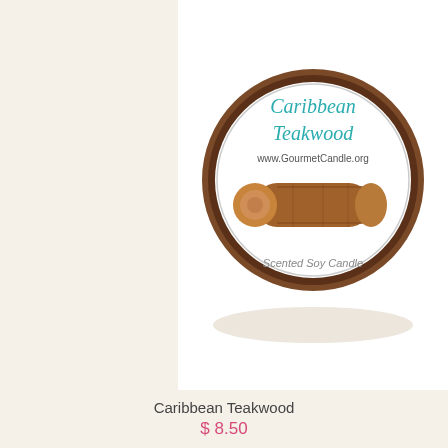[Figure (photo): A round tin candle labeled 'Caribbean Teakwood' with www.GourmetCandle.org and an illustration of a log, described as 'Scented Soy Candle'. The tin has a dark brown rim and a white circular label.]
Caribbean Teakwood
$ 8.50
[Figure (photo): Two round tin candles for 'Christmas Tree' from www.GourmetCandle.org. The open tin shows green wax with a Christmas tree shape embedded. The closed tin shows a white label with 'Christmas Tree' in red script and a small tree illustration.]